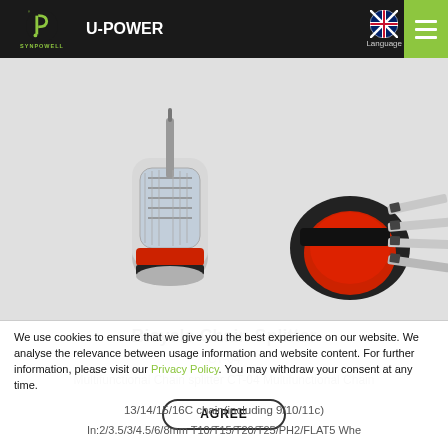SYNPOWELL U-POWER | Language
[Figure (photo): Close-up photograph of a Bicycle Chain Splitter tool — two views: left shows a red-and-chrome ratchet screwdriver handle; right shows a red-capped multi-bit holder with silver screwdriver bits fanned out.]
Bicycle Chain Splitter
CT-04
Multifunctional Chain splitter CT-04 Multifunctional Chain
We use cookies to ensure that we give you the best experience on our website. We analyse the relevance between usage information and website content. For further information, please visit our Privacy Policy. You may withdraw your consent at any time.
13/14/15/16C chain(including 9/10/11c)
In:2/3.5/3/4.5/6/8mm T10/T15/T20/T25/PH2/FLAT5 Whe